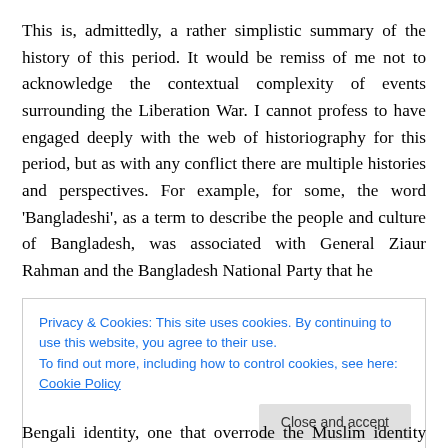This is, admittedly, a rather simplistic summary of the history of this period. It would be remiss of me not to acknowledge the contextual complexity of events surrounding the Liberation War. I cannot profess to have engaged deeply with the web of historiography for this period, but as with any conflict there are multiple histories and perspectives. For example, for some, the word 'Bangladeshi', as a term to describe the people and culture of Bangladesh, was associated with General Ziaur Rahman and the Bangladesh National Party that he
Privacy & Cookies: This site uses cookies. By continuing to use this website, you agree to their use.
To find out more, including how to control cookies, see here: Cookie Policy
Bengali identity, one that overrode the Muslim identity that